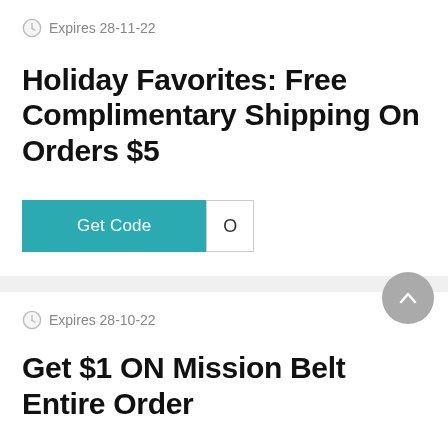Expires 28-11-22
Holiday Favorites: Free Complimentary Shipping On Orders $5
Get Code  O
Expires 28-10-22
Get $1 ON Mission Belt Entire Order
Get Deal